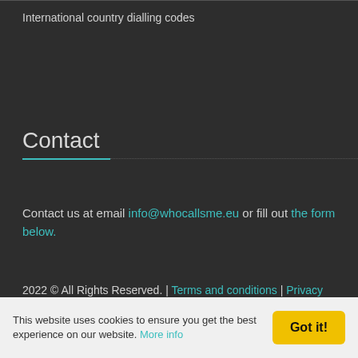International country dialling codes
Contact
Contact us at email info@whocallsme.eu or fill out the form below.
2022 © All Rights Reserved. | Terms and conditions | Privacy policy | Partner links
Social media icons: Facebook, Google+, Twitter, RSS
This website uses cookies to ensure you get the best experience on our website. More info | Got it!